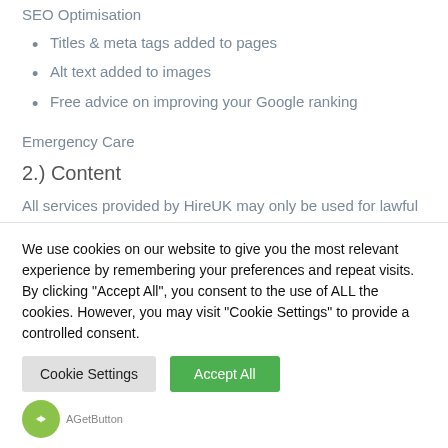SEO Optimisation
Titles & meta tags added to pages
Alt text added to images
Free advice on improving your Google ranking
Emergency Care
2.) Content
All services provided by HireUK may only be used for lawful purposes. The customer agrees to indemnify and
We use cookies on our website to give you the most relevant experience by remembering your preferences and repeat visits. By clicking "Accept All", you consent to the use of ALL the cookies. However, you may visit "Cookie Settings" to provide a controlled consent.